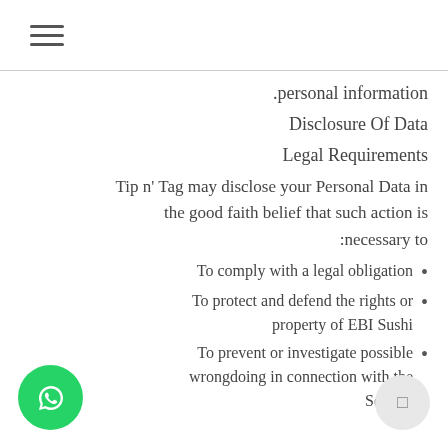≡ (hamburger menu)
.personal information
Disclosure Of Data
Legal Requirements
Tip n' Tag may disclose your Personal Data in the good faith belief that such action is necessary to:
To comply with a legal obligation
To protect and defend the rights or property of EBI Sushi
To prevent or investigate possible wrongdoing in connection with the Service